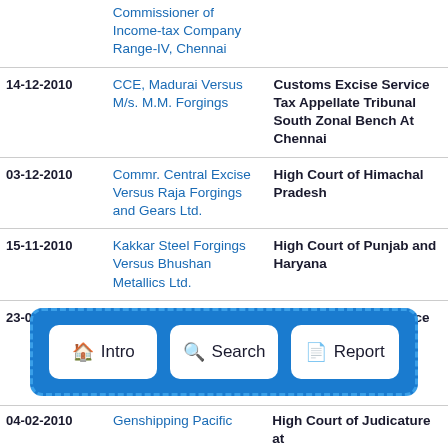| Date | Case | Court |
| --- | --- | --- |
|  | Commissioner of Income-tax Company Range-IV, Chennai |  |
| 14-12-2010 | CCE, Madurai Versus M/s. M.M. Forgings | Customs Excise Service Tax Appellate Tribunal South Zonal Bench At Chennai |
| 03-12-2010 | Commr. Central Excise Versus Raja Forgings and Gears Ltd. | High Court of Himachal Pradesh |
| 15-11-2010 | Kakkar Steel Forgings Versus Bhushan Metallics Ltd. | High Court of Punjab and Haryana |
| 23-03-2010 | Commissioner of | Customs Excise Service Tax |
| 04-02-2010 | Genshipping Pacific | High Court of Judicature at |
[Figure (infographic): Navigation toolbar overlay with three buttons: Intro (home icon), Search (search icon), Report (document icon), on a blue dashed-border background]